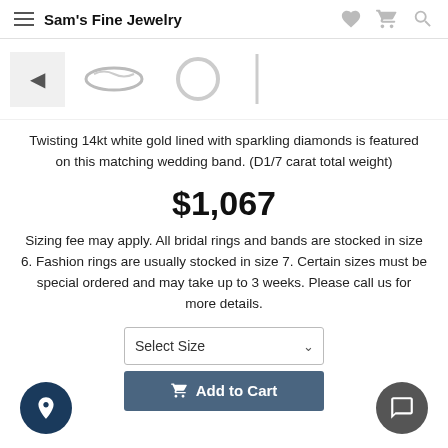Sam's Fine Jewelry
[Figure (photo): Product thumbnail strip showing wedding band images with a back arrow]
Twisting 14kt white gold lined with sparkling diamonds is featured on this matching wedding band. (D1/7 carat total weight)
$1,067
Sizing fee may apply. All bridal rings and bands are stocked in size 6. Fashion rings are usually stocked in size 7. Certain sizes must be special ordered and may take up to 3 weeks. Please call us for more details.
Select Size
Add to Cart